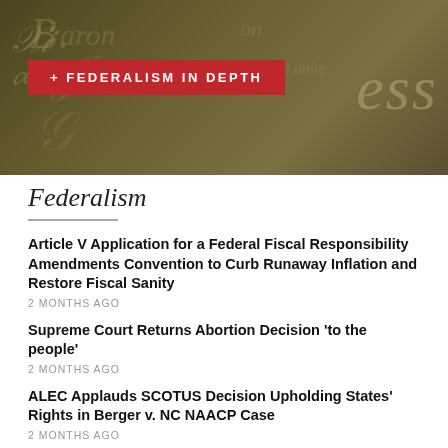[Figure (photo): Dark olive/gold colored background resembling aged parchment or historical document, with cursive script text partially visible]
+ FEDERALISM IN DEPTH
Federalism
Article V Application for a Federal Fiscal Responsibility Amendments Convention to Curb Runaway Inflation and Restore Fiscal Sanity
2 MONTHS AGO
Supreme Court Returns Abortion Decision ‘to the people’
2 MONTHS AGO
ALEC Applauds SCOTUS Decision Upholding States’ Rights in Berger v. NC NAACP Case
2 MONTHS AGO
ALEC Amicus Brief Asks Supreme Court to Set Clear